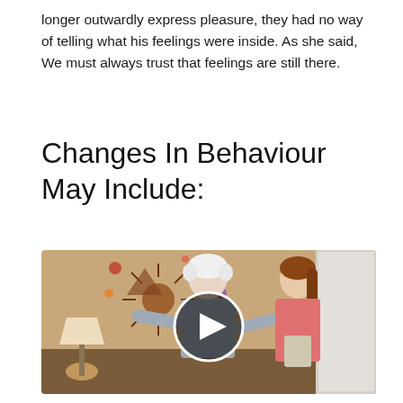longer outwardly express pleasure, they had no way of telling what his feelings were inside. As she said, We must always trust that feelings are still there.
Changes In Behaviour May Include:
[Figure (photo): Video thumbnail showing two people in a home setting — an elderly person with white hair in a grey shirt and a younger woman in a pink top. A circular play button overlay is centered on the image. Decorative wall art is visible in the background along with a lamp.]